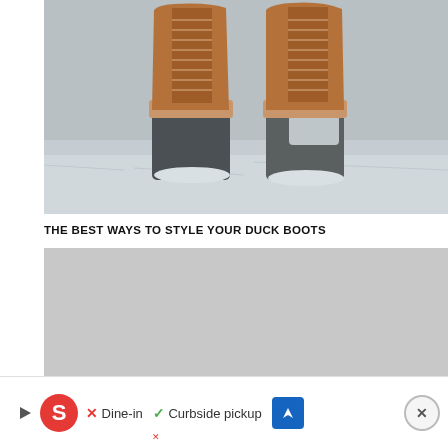[Figure (photo): Close-up photo of a pair of duck boots (tan leather upper, dark rubber lower) standing on snow/ice ground, viewed from the front.]
THE BEST WAYS TO STYLE YOUR DUCK BOOTS
[Figure (photo): Second photo, partially visible, with a light gray appearance, content not clearly visible.]
[Figure (screenshot): Advertisement bar at the bottom showing Safeway logo, Dine-in with X, Curbside pickup with checkmark, a blue navigation arrow icon, and a close button.]